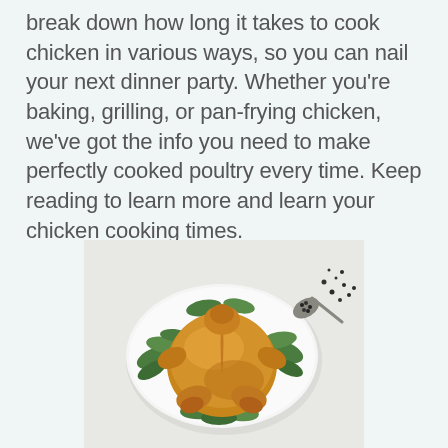break down how long it takes to cook chicken in various ways, so you can nail your next dinner party. Whether you're baking, grilling, or pan-frying chicken, we've got the info you need to make perfectly cooked poultry every time. Keep reading to learn more and learn your chicken cooking times.
[Figure (photo): A golden-brown roasted whole chicken on a white oval serving dish, surrounded by fresh green herbs (parsley, dill, thyme), with a spoon holding black peppercorns and scattered pepper scattered around on a light gray surface.]